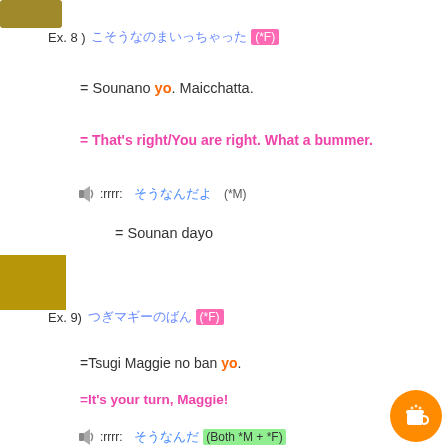[Figure (illustration): Dark tan/gold avatar square top left]
Ex. 8 ) [Japanese text](*F)
= Sounano yo. Maicchatta.
= That's right/You are right. What a bummer.
:rrrr: [Japanese text] (*M)
= Sounan dayo
[Figure (illustration): Gold/tan avatar square mid left]
Ex. 9) [Japanese text](*F)
=Tsugi Maggie no ban yo.
=It's your turn, Maggie!
:rrrr: [Japanese text](Both *M + *F)
[Figure (illustration): Orange coffee cup button bottom right]